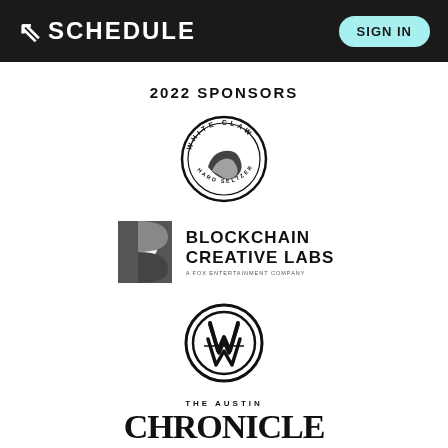K SCHEDULE  SIGN IN
2022 SPONSORS
[Figure (logo): White Claw Hard Seltzer circular logo in black and white]
[Figure (logo): Blockchain Creative Labs logo with stylized B icon and text 'BLOCKCHAIN CREATIVE LABS A FOX ENTERTAINMENT COMPANY']
[Figure (logo): Volkswagen VW circular logo in black and white]
[Figure (logo): The Austin Chronicle logo in bold black serif font]